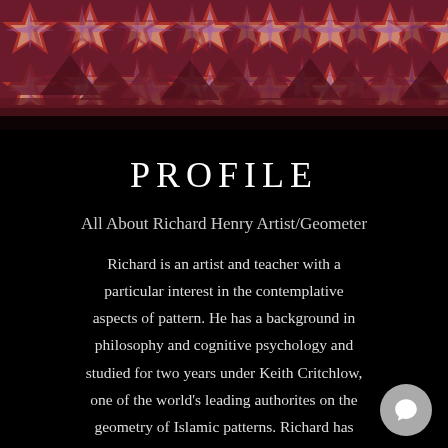[Figure (illustration): Decorative header image with geometric Islamic star pattern in red, maroon, purple, and beige tones on a dark maroon background.]
PROFILE
All About Richard Henry Artist/Geometer
Richard is an artist and teacher with a particular interest in the contemplative aspects of pattern. He has a background in philosophy and cognitive psychology and studied for two years under Keith Critchlow, one of the world’s leading authorites on the geometry of Islamic patterns. Richard has subsequently lectured widely on this subject, and has devised and taught a number of practical courses on the